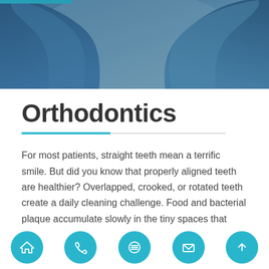[Figure (photo): Close-up photo of hands wearing blue medical/dental gloves against a gray background, top portion of page]
Orthodontics
For most patients, straight teeth mean a terrific smile. But did you know that properly aligned teeth are healthier? Overlapped, crooked, or rotated teeth create a daily cleaning challenge. Food and bacterial plaque accumulate slowly in the tiny spaces that your toothbrush and floss can't reach. The acidic toxins that seep out of the bacterial sludge can lead to
[Figure (infographic): Footer navigation bar with five teal circular icon buttons: home, phone, menu/lines, mail/envelope, and up arrow]